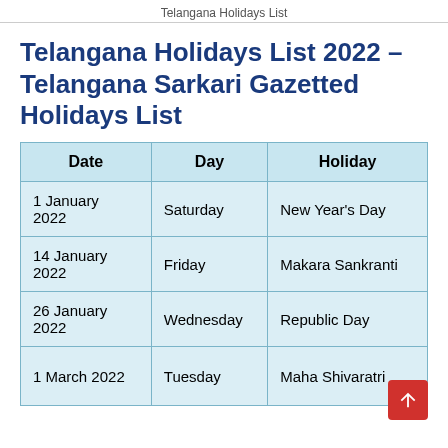Telangana Holidays List
Telangana Holidays List 2022 – Telangana Sarkari Gazetted Holidays List
| Date | Day | Holiday |
| --- | --- | --- |
| 1 January 2022 | Saturday | New Year's Day |
| 14 January 2022 | Friday | Makara Sankranti |
| 26 January 2022 | Wednesday | Republic Day |
| 1 March 2022 | Tuesday | Maha Shivaratri |